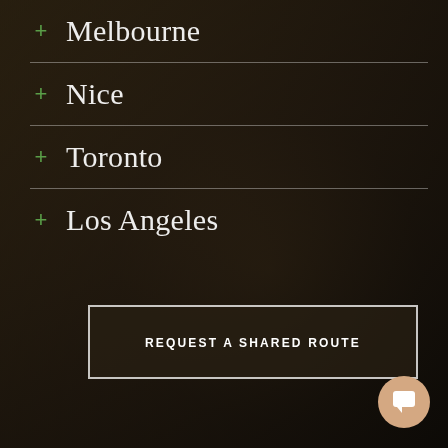+ Melbourne
+ Nice
+ Toronto
+ Los Angeles
REQUEST A SHARED ROUTE
[Figure (illustration): Chat/support bubble icon in bottom right corner, circular peach/tan colored button with white chat icon]